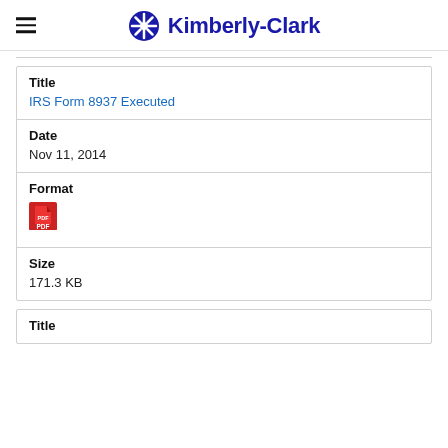Kimberly-Clark
| Field | Value |
| --- | --- |
| Title | IRS Form 8937 Executed |
| Date | Nov 11, 2014 |
| Format | PDF |
| Size | 171.3 KB |
Title